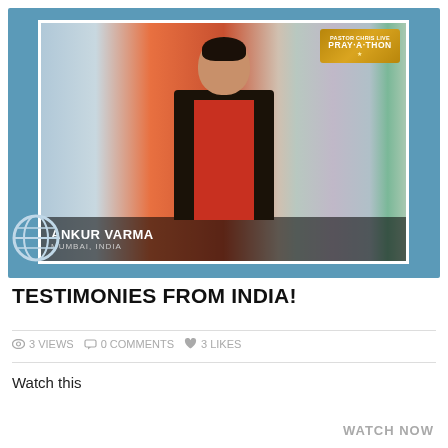[Figure (screenshot): Video thumbnail showing a young man named Ankur Varma from Mumbai, India, speaking on a TV broadcast with 'PRAY-A-THON' branding visible in the upper right corner. The lower-third graphic reads 'ANKUR VARMA / MUMBAI, INDIA'.]
TESTIMONIES FROM INDIA!
3 VIEWS   0 COMMENTS   3 LIKES
Watch this
WATCH NOW